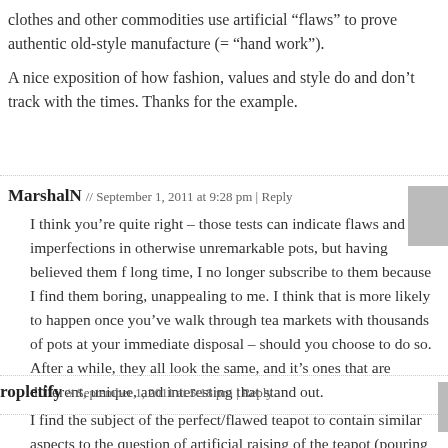clothes and other commodities use artificial “flaws” to prove authentic old-style manufacture (= “hand work”).
A nice exposition of how fashion, values and style do and don’t track with the times. Thanks for the example.
MarshalN // September 1, 2011 at 9:28 pm | Reply
I think you’re quite right – those tests can indicate flaws and imperfections in otherwise unremarkable pots, but having believed them f long time, I no longer subscribe to them because I find them boring, unappealing to me. I think that is more likely to happen once you’ve walk through tea markets with thousands of pots at your immediate disposal – should you choose to do so. After a while, they all look the same, and it’s ones that are different, unique, and interesting that stand out.
ropletify // September 1, 2011 at 5:18 pm | Reply
I find the subject of the perfect/flawed teapot to contain similar aspects to the question of artificial raising of the teapot (pouring tea over the exterior of